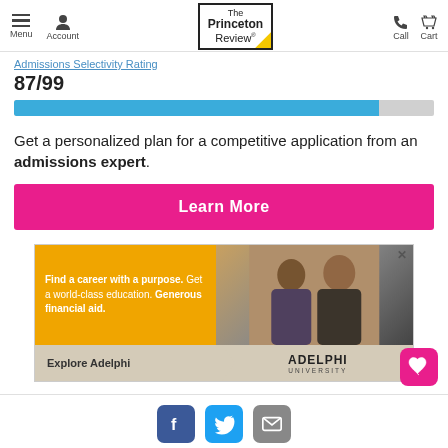Menu | Account | The Princeton Review | Call | Cart
Admissions Selectivity Rating
87/99
Get a personalized plan for a competitive application from an admissions expert.
Learn More
[Figure (screenshot): Adelphi University advertisement banner with yellow background on left showing text: Find a career with a purpose. Get a world-class education. Generous financial aid. Bottom section shows Explore Adelphi with arrow and Adelphi University logo. Right side shows photo of two men.]
Facebook | Twitter | Email share icons